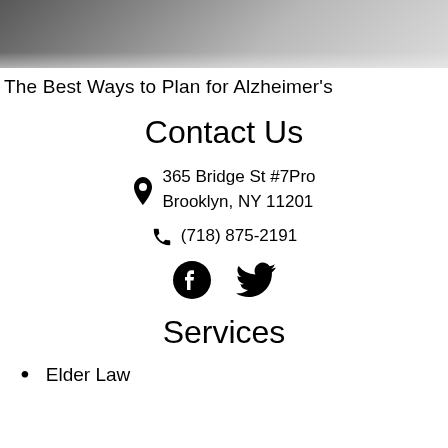[Figure (photo): Top banner photo showing dark/grey fabric or clothing, partially visible, cropped at top]
The Best Ways to Plan for Alzheimer's
Contact Us
365 Bridge St #7Pro
Brooklyn, NY 11201
(718) 875-2191
[Figure (illustration): Facebook and Twitter social media icons]
Services
Elder Law